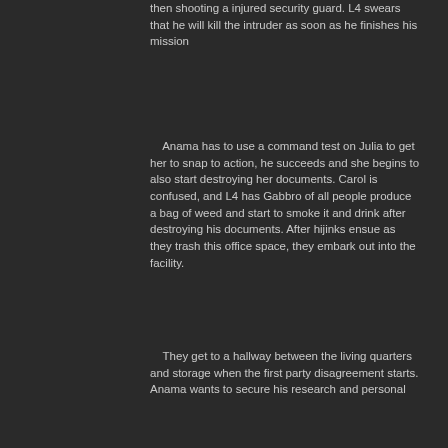then shooting a injured security guard. L4 swears that he will kill the intruder as soon as he finishes his mission
Anama has to use a command test on Julia to get her to snap to action, he succeeds and she begins to also start destroying her documents. Carol is confused, and L4 has Gabbro of all people produce a bag of weed and start to smoke it and drink after destroying his documents. After hijinks ensue as they trash this office space, they embark out into the facility.
They get to a hallway between the living quarters and storage when the first party disagreement starts. Anama wants to secure his research and personal